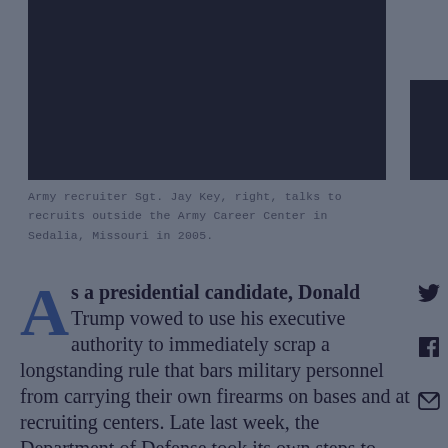[Figure (photo): Dark photograph showing Army recruiter scene, partially visible]
Army recruiter Sgt. Jay Key, right, talks to recruits outside the Army Career Center in Sedalia, Missouri in 2005.
As a presidential candidate, Donald Trump vowed to use his executive authority to immediately scrap a longstanding rule that bars military personnel from carrying their own firearms on bases and at recruiting centers. Late last week, the Department of Defense took its own steps to loosen restrictions on private gun carry in new rules issued by the Pentagon.